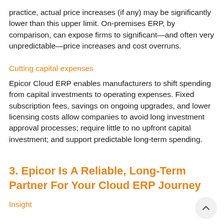practice, actual price increases (if any) may be significantly lower than this upper limit. On-premises ERP, by comparison, can expose firms to significant—and often very unpredictable—price increases and cost overruns.
Cutting capital expenses
Epicor Cloud ERP enables manufacturers to shift spending from capital investments to operating expenses. Fixed subscription fees, savings on ongoing upgrades, and lower licensing costs allow companies to avoid long investment approval processes; require little to no upfront capital investment; and support predictable long-term spending.
3. Epicor Is A Reliable, Long-Term Partner For Your Cloud ERP Journey
Insight